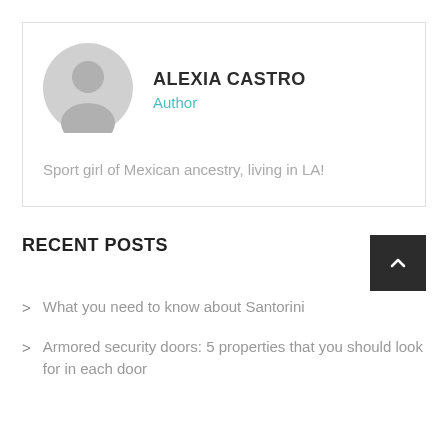[Figure (illustration): Gray circular avatar icon with a generic person silhouette]
ALEXIA CASTRO
Author
Sport girl of Mexican ancestry, living in LA!
RECENT POSTS
What you need to know about Santorini
Armored security doors: 5 properties that you should look for in each door